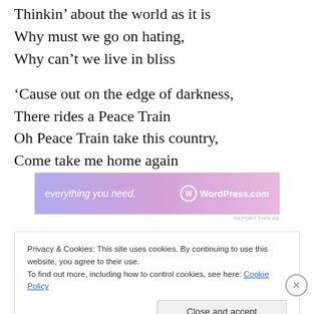Thinkin' about the world as it is
Why must we go on hating,
Why can't we live in bliss

'Cause out on the edge of darkness,
There rides a Peace Train
Oh Peace Train take this country,
Come take me home again
[Figure (other): WordPress.com advertisement banner with gradient background (purple to pink), text 'everything you need.' and WordPress.com logo]
Privacy & Cookies: This site uses cookies. By continuing to use this website, you agree to their use.
To find out more, including how to control cookies, see here: Cookie Policy
Close and accept